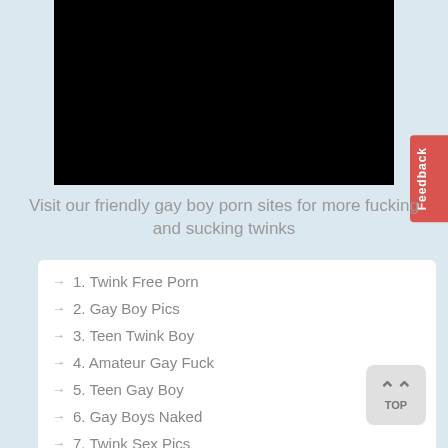[Figure (photo): Black redacted image area at top center of page]
Visit our friendly gay boy porn sites for more fucking and sucking twinks
→ 1. Twink Free Porn
→ 2. Gay Boy Pics
→ 3. Teen Twink Boy
→ 4. Amateur Gay Fuck
→ 5. Teen Gay Boy
→ 6. Gay Boys Naked
→ 7. Twink Sex Pics